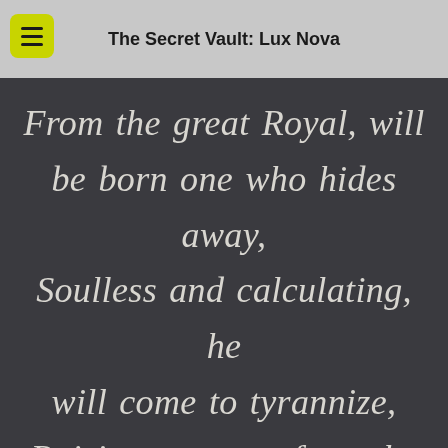The Secret Vault: Lux Nova
From the great Royal, will be born one who hides away,
Soulless and calculating, he will come to tyrannize,
Raising an army from the